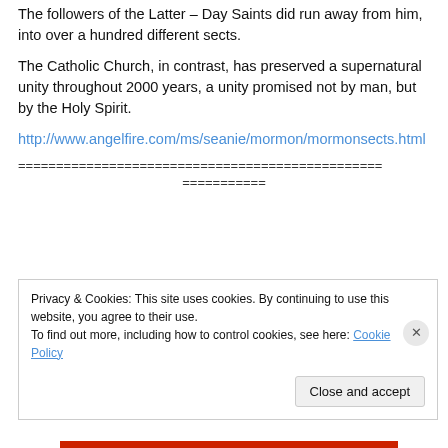The followers of the Latter – Day Saints did run away from him, into over a hundred different sects.
The Catholic Church, in contrast, has preserved a supernatural unity throughout 2000 years, a unity promised not by man, but by the Holy Spirit.
http://www.angelfire.com/ms/seanie/mormon/mormonsects.html
================================================
===========
Privacy & Cookies: This site uses cookies. By continuing to use this website, you agree to their use.
To find out more, including how to control cookies, see here: Cookie Policy